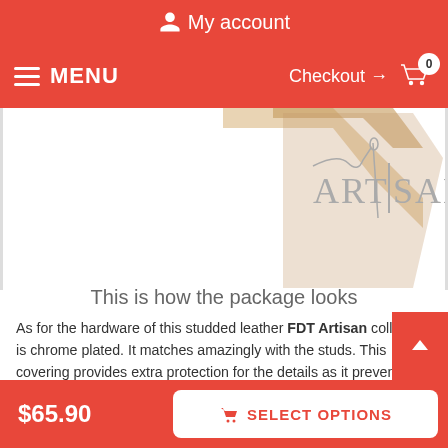My account
MENU  Checkout → 0
[Figure (photo): Product package photo showing a kraft paper cardboard box corner and the ARTISAN brand logo watermark in grey]
This is how the package looks
As for the hardware of this studded leather FDT Artisan collar, it is chrome plated. It matches amazingly with the studs. This covering provides extra protection for the details as it prevents corrosion. The set of hardware consists of a traditional elegant buckle and strong D-ring for leash attachment. These fittings easy to use and reliable in service they provide. Add more to your dog's outlook, purchase this elegant leather gear!
$65.90  SELECT OPTIONS